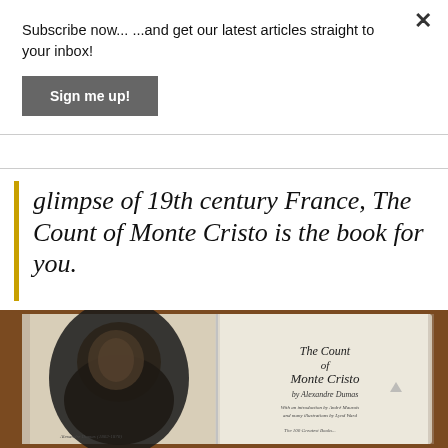Subscribe now... ...and get our latest articles straight to your inbox!
Sign me up!
glimpse of 19th century France, The Count of Monte Cristo is the book for you.
[Figure (photo): Open book showing The Count of Monte Cristo by Alexandre Dumas, with a portrait illustration on the left page and the title page on the right, placed on a wooden surface.]